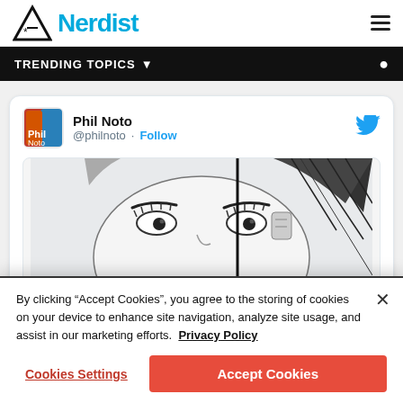Nerdist
TRENDING TOPICS
Phil Noto @philnoto · Follow
[Figure (illustration): Pencil sketch illustration of a woman's face/eyes with dark hair, cropped at the top portion]
By clicking “Accept Cookies”, you agree to the storing of cookies on your device to enhance site navigation, analyze site usage, and assist in our marketing efforts. Privacy Policy
Cookies Settings
Accept Cookies